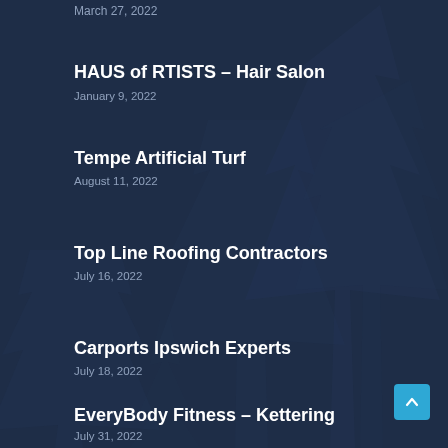March 27, 2022
HAUS of RTISTS – Hair Salon
January 9, 2022
Tempe Artificial Turf
August 11, 2022
Top Line Roofing Contractors
July 16, 2022
Carports Ipswich Experts
July 18, 2022
EveryBody Fitness – Kettering
July 31, 2022